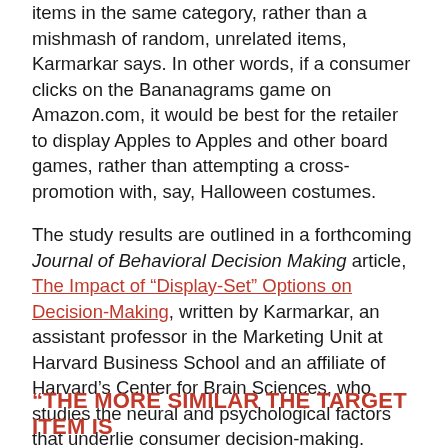items in the same category, rather than a mishmash of random, unrelated items, Karmarkar says. In other words, if a consumer clicks on the Bananagrams game on Amazon.com, it would be best for the retailer to display Apples to Apples and other board games, rather than attempting a cross-promotion with, say, Halloween costumes.
The study results are outlined in a forthcoming Journal of Behavioral Decision Making article, The Impact of "Display-Set" Options on Decision-Making, written by Karmarkar, an assistant professor in the Marketing Unit at Harvard Business School and an affiliate of Harvard's Center for Brain Sciences, who studies the neural and psychological factors that underlie consumer decision-making.
"THE MORE SIMILAR THE TARGET ITEM IS